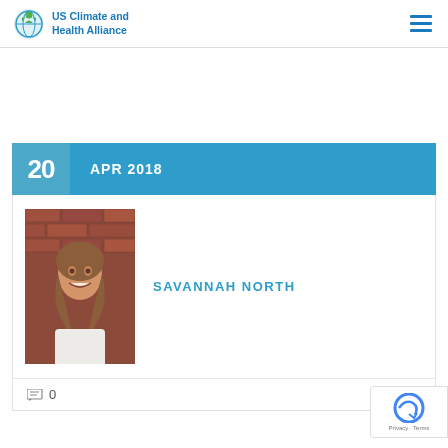US Climate and Health Alliance
20  APR 2018
[Figure (photo): Portrait photo of Savannah North, a young woman with shoulder-length brown hair, wearing a white top, smiling, in front of a brick wall background.]
SAVANNAH NORTH
0